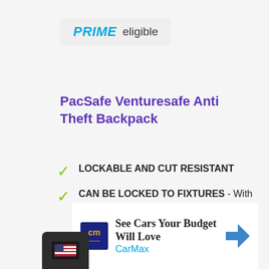[Figure (logo): Amazon Prime eligible badge with blue italic PRIME text and gray background]
PacSafe Venturesafe Anti Theft Backpack
LOCKABLE AND CUT RESISTANT
CAN BE LOCKED TO FIXTURES - With detachable shoulder strap buckle, bag can be locked to pole or chair with padlock (not incl.)
Padded & adjustable shoulder straps and hip belt for weight distribution. Ergonomic frame with padded, honey-comb fabric
[Figure (infographic): CarMax advertisement: See Cars Your Budget Will Love, CarMax logo with CM in navy, navigation arrow icon]